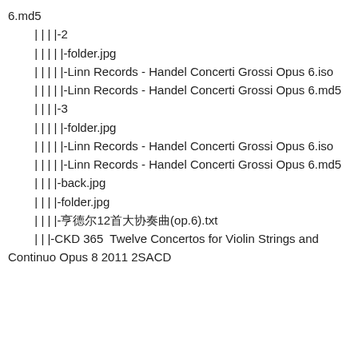6.md5
        | | | |-2
        | | | | |-folder.jpg
        | | | | |-Linn Records - Handel Concerti Grossi Opus 6.iso
        | | | | |-Linn Records - Handel Concerti Grossi Opus 6.md5
        | | | |-3
        | | | | |-folder.jpg
        | | | | |-Linn Records - Handel Concerti Grossi Opus 6.iso
        | | | | |-Linn Records - Handel Concerti Grossi Opus 6.md5
        | | | |-back.jpg
        | | | |-folder.jpg
        | | | |-亨德尔12首大协奏曲(op.6).txt
        | | |-CKD 365  Twelve Concertos for Violin Strings and Continuo Opus 8 2011 2SACD